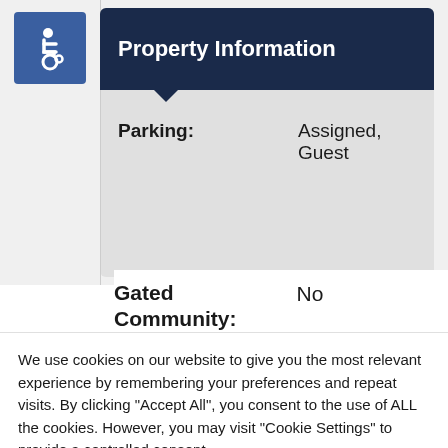[Figure (illustration): Blue square with white wheelchair accessibility icon]
Property Information
| Parking: | Assigned, Guest |
Gated Community: No
We use cookies on our website to give you the most relevant experience by remembering your preferences and repeat visits. By clicking “Accept All”, you consent to the use of ALL the cookies. However, you may visit “Cookie Settings” to provide a controlled consent.
Cookie Settings | Accept All